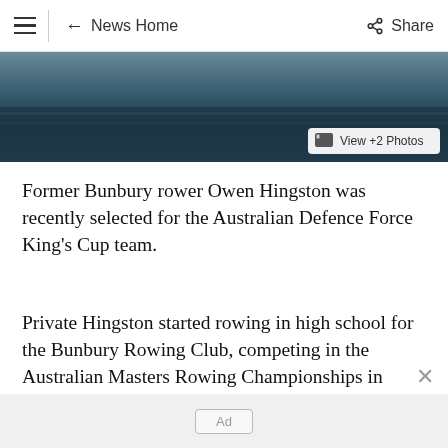← News Home    Share
[Figure (photo): Aerial or landscape photo showing water and dark terrain, partially visible at top of page. A 'View +2 Photos' button overlays the bottom-right corner.]
Former Bunbury rower Owen Hingston was recently selected for the Australian Defence Force King's Cup team.
Private Hingston started rowing in high school for the Bunbury Rowing Club, competing in the Australian Masters Rowing Championships in Tasmania and Perth.